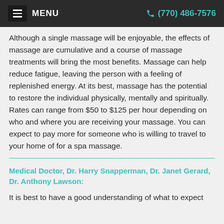≡ MENU   (770) 486-7576
Although a single massage will be enjoyable, the effects of massage are cumulative and a course of massage treatments will bring the most benefits. Massage can help reduce fatigue, leaving the person with a feeling of replenished energy. At its best, massage has the potential to restore the individual physically, mentally and spiritually. Rates can range from $50 to $125 per hour depending on who and where you are receiving your massage. You can expect to pay more for someone who is willing to travel to your home of for a spa massage.
Medical Doctor, Dr. Harry Snapperman, Dr. Janet Gerard, Dr. Anthony Lawson:
It is best to have a good understanding of what to expect